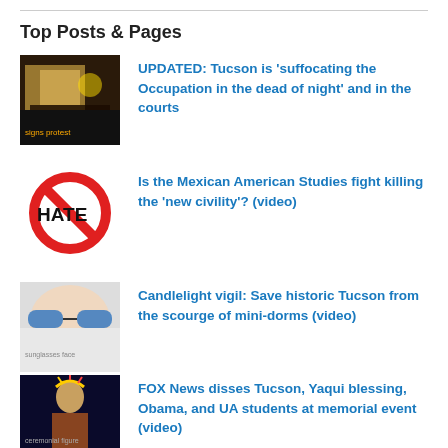Top Posts & Pages
UPDATED: Tucson is 'suffocating the Occupation in the dead of night' and in the courts
Is the Mexican American Studies fight killing the 'new civility'? (video)
Candlelight vigil: Save historic Tucson from the scourge of mini-dorms (video)
FOX News disses Tucson, Yaqui blessing, Obama, and UA students at memorial event (video)